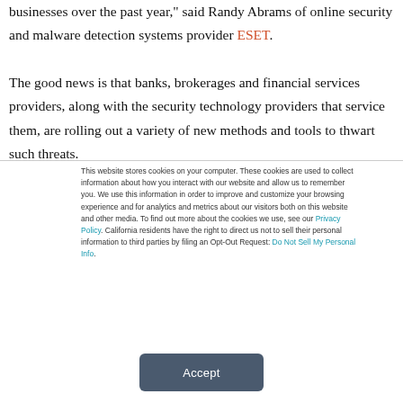businesses over the past year," said Randy Abrams of online security and malware detection systems provider ESET.
The good news is that banks, brokerages and financial services providers, along with the security technology providers that service them, are rolling out a variety of new methods and tools to thwart such threats.
This website stores cookies on your computer. These cookies are used to collect information about how you interact with our website and allow us to remember you. We use this information in order to improve and customize your browsing experience and for analytics and metrics about our visitors both on this website and other media. To find out more about the cookies we use, see our Privacy Policy. California residents have the right to direct us not to sell their personal information to third parties by filing an Opt-Out Request: Do Not Sell My Personal Info.
Accept